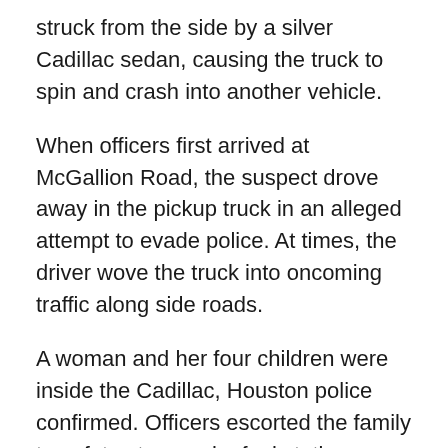struck from the side by a silver Cadillac sedan, causing the truck to spin and crash into another vehicle.
When officers first arrived at McGallion Road, the suspect drove away in the pickup truck in an alleged attempt to evade police. At times, the driver wove the truck into oncoming traffic along side roads.
A woman and her four children were inside the Cadillac, Houston police confirmed. Officers escorted the family to safety at a nearby fuel station before pursuing the suspect, who they said had barricaded himself inside the F-250.
Police took the driver of the F-250 into custody at around 2:38 p.m. Friday after forcing him out of the truck. Officers placed him into an ambulance but he has since been transferred to the Harris County jail. His